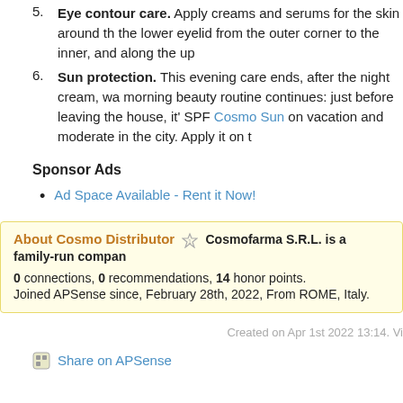5. Eye contour care. Apply creams and serums for the skin around the lower eyelid from the outer corner to the inner, and along the up
6. Sun protection. This evening care ends, after the night cream, wa morning beauty routine continues: just before leaving the house, it' SPF Cosmo Sun on vacation and moderate in the city. Apply it on t
Sponsor Ads
Ad Space Available - Rent it Now!
About Cosmo Distributor ☆ Cosmofarma S.R.L. is a family-run compan
0 connections, 0 recommendations, 14 honor points.
Joined APSense since, February 28th, 2022, From ROME, Italy.
Created on Apr 1st 2022 13:14. Vi
Share on APSense